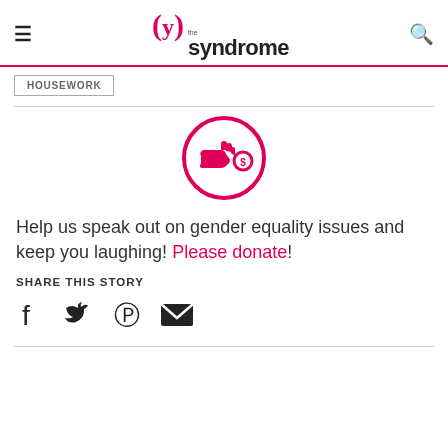≡   (y) the syndrome   🔍
HOUSEWORK
[Figure (illustration): Pink circle icon with a hand holding a coin (donation icon)]
Help us speak out on gender equality issues and keep you laughing! Please donate!
SHARE THIS STORY
[Figure (illustration): Social media share icons: Facebook, Twitter, Pinterest, Email]